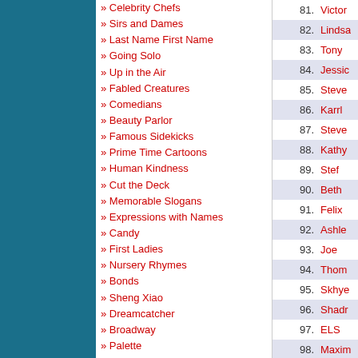» Celebrity Chefs
» Sirs and Dames
» Last Name First Name
» Going Solo
» Up in the Air
» Fabled Creatures
» Comedians
» Beauty Parlor
» Famous Sidekicks
» Prime Time Cartoons
» Human Kindness
» Cut the Deck
» Memorable Slogans
» Expressions with Names
» Candy
» First Ladies
» Nursery Rhymes
» Bonds
» Sheng Xiao
» Dreamcatcher
» Broadway
» Palette
» All Tied Up
» E-I-E-I-O
» Say it with Love
» Ghost
» Vampires
» Witches
» It's All Obsolete
81. Victor
82. Lindsa
83. Tony
84. Jessic
85. Steve
86. Karrl
87. Steve
88. Kathy
89. Stef
90. Beth
91. Felix
92. Ashle
93. Joe
94. Thom
95. Skhye
96. Shadr
97. ELS
98. Maxim
99. Georg